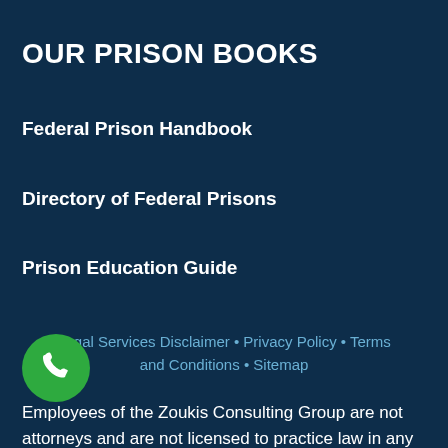OUR PRISON BOOKS
Federal Prison Handbook
Directory of Federal Prisons
Prison Education Guide
Legal Services Disclaimer • Privacy Policy • Terms and Conditions • Sitemap
Employees of the Zoukis Consulting Group are not attorneys and are not licensed to practice law in any jurisdiction. The Zoukis Consulting Group is a consulting firm, not a law firm. Our firm affiliates with local counsel